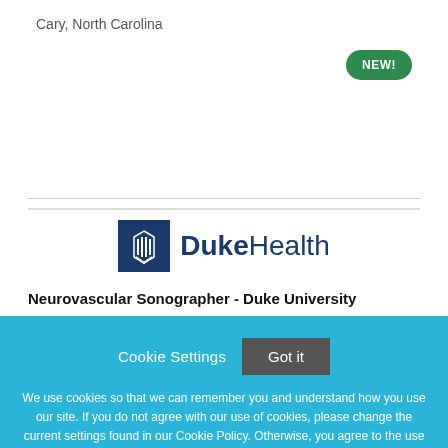Cary, North Carolina
[Figure (logo): Duke Health logo with blue square icon and DukeHealth text]
Neurovascular Sonographer - Duke University
Cookie Settings   Got it
We use cookies so that we can remember you and understand how you use our site. If you do not agree with our use of cookies, please change the current settings found in our Cookie Policy. Otherwise, you agree to the use of the cookies as they are currently set.